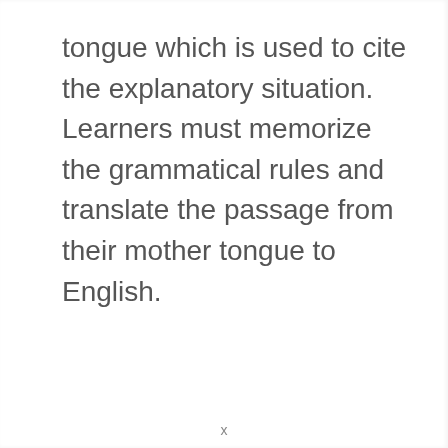tongue which is used to cite the explanatory situation. Learners must memorize the grammatical rules and translate the passage from their mother tongue to English.
x